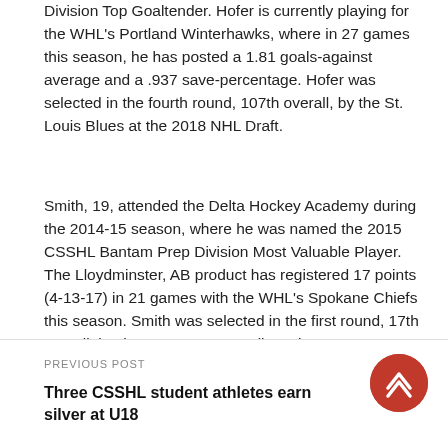Division Top Goaltender. Hofer is currently playing for the WHL's Portland Winterhawks, where in 27 games this season, he has posted a 1.81 goals-against average and a .937 save-percentage. Hofer was selected in the fourth round, 107th overall, by the St. Louis Blues at the 2018 NHL Draft.
Smith, 19, attended the Delta Hockey Academy during the 2014-15 season, where he was named the 2015 CSSHL Bantam Prep Division Most Valuable Player. The Lloydminster, AB product has registered 17 points (4-13-17) in 21 games with the WHL's Spokane Chiefs this season. Smith was selected in the first round, 17th overall, by the New Jersey Devils at the 2018 NHL Draft.
PREVIOUS POST
Three CSSHL student athletes earn silver at U18